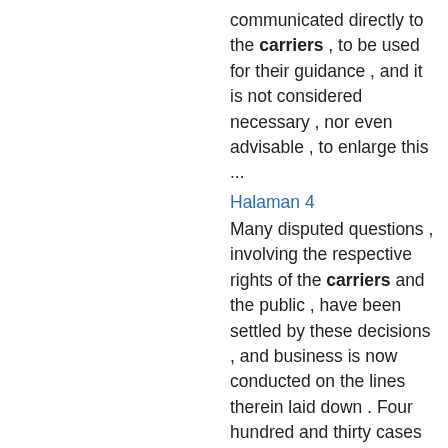communicated directly to the carriers , to be used for their guidance , and it is not considered necessary , nor even advisable , to enlarge this ...
Halaman 4
Many disputed questions , involving the respective rights of the carriers and the public , have been settled by these decisions , and business is now conducted on the lines therein laid down . Four hundred and thirty cases of an ...
Halaman 5
... but they do rightfully demand efficient and prompt service ; and , on the other hand , the